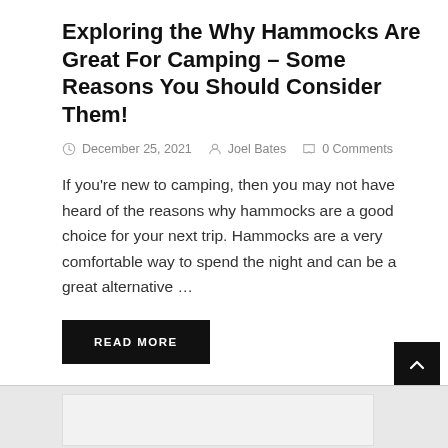Exploring the Why Hammocks Are Great For Camping – Some Reasons You Should Consider Them!
December 25, 2021  Joel Bates  0 Comments
If you're new to camping, then you may not have heard of the reasons why hammocks are a good choice for your next trip. Hammocks are a very comfortable way to spend the night and can be a great alternative …
READ MORE
[Figure (photo): Partial bottom image visible, appears to be a white furniture or interior scene]